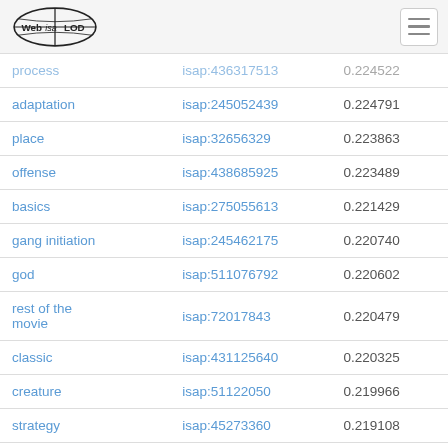WebIsaLOD logo and navigation
| term | isap id | score |
| --- | --- | --- |
| process | isap:436317513 | 0.224522 |
| adaptation | isap:245052439 | 0.224791 |
| place | isap:32656329 | 0.223863 |
| offense | isap:438685925 | 0.223489 |
| basics | isap:275055613 | 0.221429 |
| gang initiation | isap:245462175 | 0.220740 |
| god | isap:511076792 | 0.220602 |
| rest of the movie | isap:72017843 | 0.220479 |
| classic | isap:431125640 | 0.220325 |
| creature | isap:51122050 | 0.219966 |
| strategy | isap:45273360 | 0.219108 |